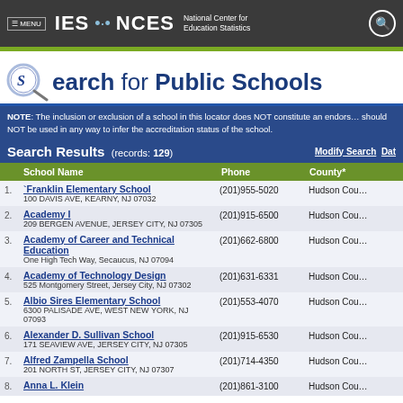≡ MENU  IES · NCES National Center for Education Statistics
Search for Public Schools
NOTE: The inclusion or exclusion of a school in this locator does NOT constitute an endorsement and should NOT be used in any way to infer the accreditation status of the school.
Search Results (records: 129)  Modify Search  Data
|  | School Name | Phone | County* |
| --- | --- | --- | --- |
| 1. | `Franklin Elementary School
100 DAVIS AVE, KEARNY, NJ 07032 | (201)955-5020 | Hudson Cou… |
| 2. | Academy I
209 BERGEN AVENUE, JERSEY CITY, NJ 07305 | (201)915-6500 | Hudson Cou… |
| 3. | Academy of Career and Technical Education
One High Tech Way, Secaucus, NJ 07094 | (201)662-6800 | Hudson Cou… |
| 4. | Academy of Technology Design
525 Montgomery Street, Jersey City, NJ 07302 | (201)631-6331 | Hudson Cou… |
| 5. | Albio Sires Elementary School
6300 PALISADE AVE, WEST NEW YORK, NJ 07093 | (201)553-4070 | Hudson Cou… |
| 6. | Alexander D. Sullivan School
171 SEAVIEW AVE, JERSEY CITY, NJ 07305 | (201)915-6530 | Hudson Cou… |
| 7. | Alfred Zampella School
201 NORTH ST, JERSEY CITY, NJ 07307 | (201)714-4350 | Hudson Cou… |
| 8. | Anna L. Klein… | (201)861-3100 | Hudson Cou… |